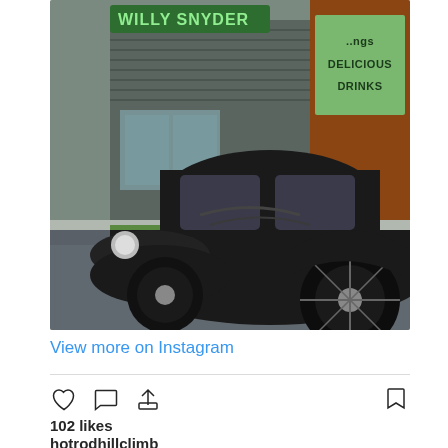[Figure (photo): Vintage black hot rod car (1932 Ford style) parked in front of a building with 'Willy Snyder' sign and a 'Delicious Drinks' advertisement on a brick wall. The car is a classic coupe with exposed front wheel, chrome headlight, and stylized fenders.]
View more on Instagram
102 likes
hotrodhillclimb